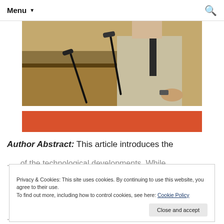Menu ▾
[Figure (photo): Person in beige suit and dark tie standing at a podium with microphones]
[Figure (other): Orange/red decorative bar]
Author Abstract: This article introduces the
...of the technological developments. While
Privacy & Cookies: This site uses cookies. By continuing to use this website, you agree to their use. To find out more, including how to control cookies, see here: Cookie Policy
Close and accept
...studies) is a problem. Therefore, to paint the